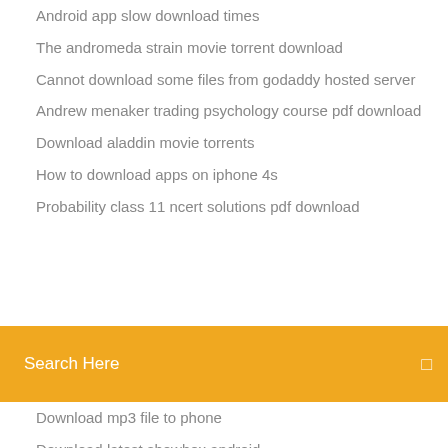Android app slow download times
The andromeda strain movie torrent download
Cannot download some files from godaddy hosted server
Andrew menaker trading psychology course pdf download
Download aladdin movie torrents
How to download apps on iphone 4s
Probability class 11 ncert solutions pdf download
[Figure (screenshot): Search bar with orange/yellow background and 'Search Here' placeholder text with a search icon on the right]
Download mp3 file to phone
Download latest showbox android
John smith minecraft texture pack download modded
Wolf howling at the moon free download gif
Reddit vita download psp save data without pc
Storyclock notebook pdf free download
Download text file instead of opening it
Download deja vu mp4 burna boy
Avg for pc free download
Minecraft apk download sbenny